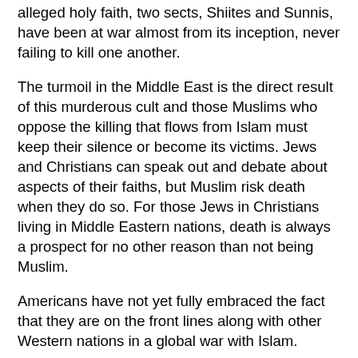alleged holy faith, two sects, Shiites and Sunnis, have been at war almost from its inception, never failing to kill one another.
The turmoil in the Middle East is the direct result of this murderous cult and those Muslims who oppose the killing that flows from Islam must keep their silence or become its victims. Jews and Christians can speak out and debate about aspects of their faiths, but Muslim risk death when they do so. For those Jews in Christians living in Middle Eastern nations, death is always a prospect for no other reason than not being Muslim.
Americans have not yet fully embraced the fact that they are on the front lines along with other Western nations in a global war with Islam.
Will it take another 9/11? Surely the recent attack by two Islamists on May 3rd in Garland, Texas, was